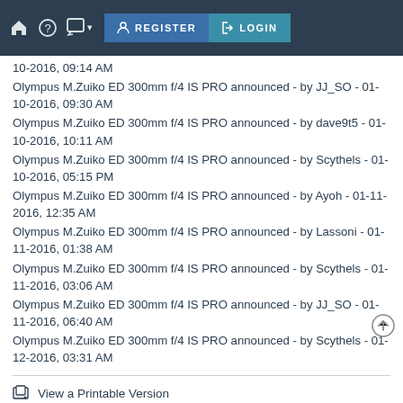REGISTER  LOGIN
Olympus M.Zuiko ED 300mm f/4 IS PRO announced - by JJ_SO - 01-10-2016, 09:30 AM
Olympus M.Zuiko ED 300mm f/4 IS PRO announced - by dave9t5 - 01-10-2016, 10:11 AM
Olympus M.Zuiko ED 300mm f/4 IS PRO announced - by Scythels - 01-10-2016, 05:15 PM
Olympus M.Zuiko ED 300mm f/4 IS PRO announced - by Ayoh - 01-11-2016, 12:35 AM
Olympus M.Zuiko ED 300mm f/4 IS PRO announced - by Lassoni - 01-11-2016, 01:38 AM
Olympus M.Zuiko ED 300mm f/4 IS PRO announced - by Scythels - 01-11-2016, 03:06 AM
Olympus M.Zuiko ED 300mm f/4 IS PRO announced - by JJ_SO - 01-11-2016, 06:40 AM
Olympus M.Zuiko ED 300mm f/4 IS PRO announced - by Scythels - 01-12-2016, 03:31 AM
View a Printable Version
Subscribe to this thread